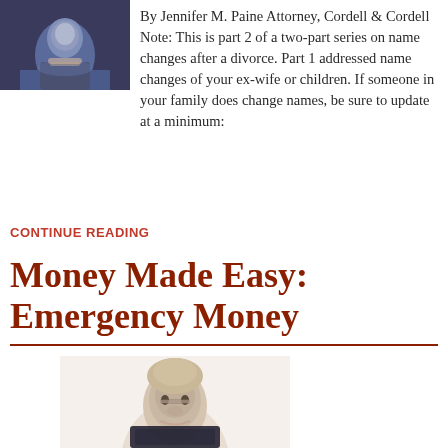[Figure (photo): Portrait photo of a woman with dark hair wearing a dark jacket and beaded necklace]
By Jennifer M. Paine Attorney, Cordell & Cordell Note: This is part 2 of a two-part series on name changes after a divorce. Part 1 addressed name changes of your ex-wife or children. If someone in your family does change names, be sure to update at a minimum:
CONTINUE READING
Money Made Easy: Emergency Money
[Figure (photo): Portrait photo of a middle-aged man with light brown hair wearing glasses and a dark jacket, smiling]